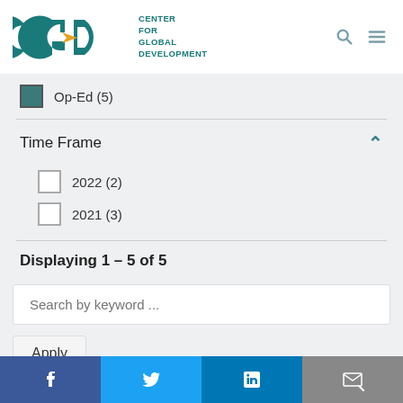[Figure (logo): CGD Center for Global Development logo with teal letters and gold arrow]
Op-Ed (5) — checked checkbox filter item
Time Frame
2022 (2) — unchecked checkbox filter item
2021 (3) — unchecked checkbox filter item
Displaying 1 – 5 of 5
Search by keyword ...
Apply
[Figure (infographic): Social media footer bar with Facebook, Twitter, LinkedIn, and email icons]